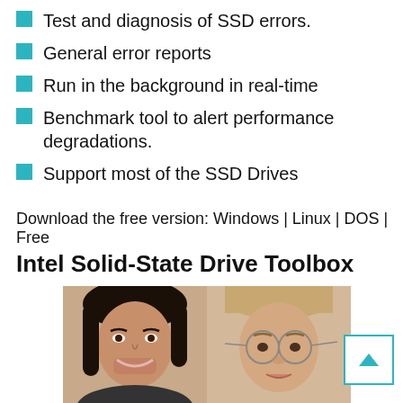Test and diagnosis of SSD errors.
General error reports
Run in the background in real-time
Benchmark tool to alert performance degradations.
Support most of the SSD Drives
Download the free version: Windows | Linux | DOS | Free
Intel Solid-State Drive Toolbox
[Figure (photo): Two people: a woman with dark hair smiling and a person with glasses and lighter hair, shown from shoulders up side by side.]